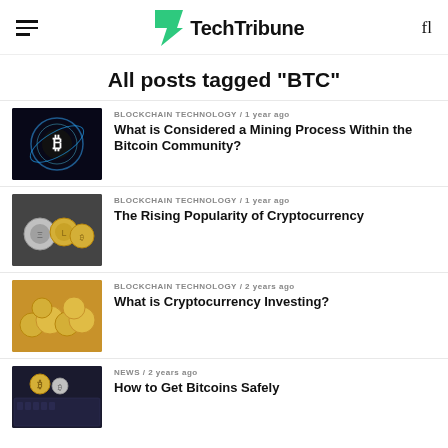TechTribune
All posts tagged "BTC"
BLOCKCHAIN TECHNOLOGY / 1 year ago
What is Considered a Mining Process Within the Bitcoin Community?
[Figure (photo): Bitcoin symbol glowing in dark background]
BLOCKCHAIN TECHNOLOGY / 1 year ago
The Rising Popularity of Cryptocurrency
[Figure (photo): Various cryptocurrency coins on dark surface]
BLOCKCHAIN TECHNOLOGY / 2 years ago
What is Cryptocurrency Investing?
[Figure (photo): Gold coins scattered on surface]
NEWS / 2 years ago
How to Get Bitcoins Safely
[Figure (photo): Bitcoin coins on keyboard]